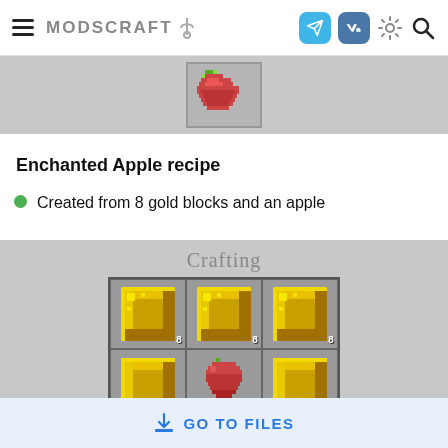MODSCRAFT
[Figure (screenshot): Partial top of page showing a Minecraft apple item image on gray background]
Enchanted Apple recipe
Created from 8 gold blocks and an apple
[Figure (screenshot): Minecraft crafting table UI showing 'Crafting' header and a 3x2 visible grid with gold blocks (labeled 8 each) in top row and partial second row with gold and apple items]
GO TO FILES